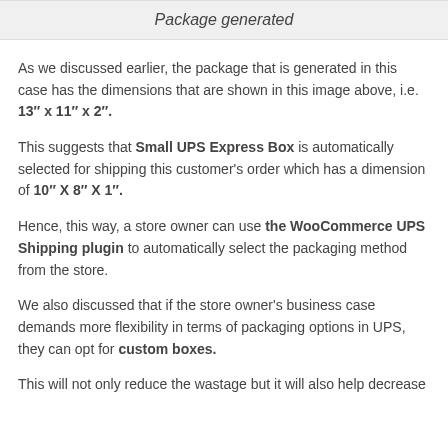Package generated
As we discussed earlier, the package that is generated in this case has the dimensions that are shown in this image above, i.e. 13″ x 11″ x 2″.
This suggests that Small UPS Express Box is automatically selected for shipping this customer's order which has a dimension of 10″ X 8″ X 1″.
Hence, this way, a store owner can use the WooCommerce UPS Shipping plugin to automatically select the packaging method from the store.
We also discussed that if the store owner’s business case demands more flexibility in terms of packaging options in UPS, they can opt for custom boxes.
This will not only reduce the wastage but it will also help decrease the...